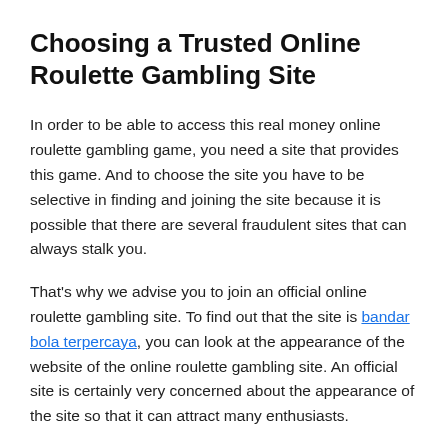Choosing a Trusted Online Roulette Gambling Site
In order to be able to access this real money online roulette gambling game, you need a site that provides this game. And to choose the site you have to be selective in finding and joining the site because it is possible that there are several fraudulent sites that can always stalk you.
That's why we advise you to join an official online roulette gambling site. To find out that the site is bandar bola terpercaya, you can look at the appearance of the website of the online roulette gambling site. An official site is certainly very concerned about the appearance of the site so that it can attract many enthusiasts.